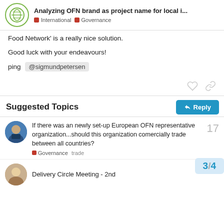Analyzing OFN brand as project name for local i... | International | Governance
Food Network' is a really nice solution.
Good luck with your endeavours!
ping @sigmundpetersen
Suggested Topics
If there was an newly set-up European OFN representative organization...should this organization comercially trade between all countries?
Governance   trade   17
Delivery Circle Meeting - 2nd
3 / 4